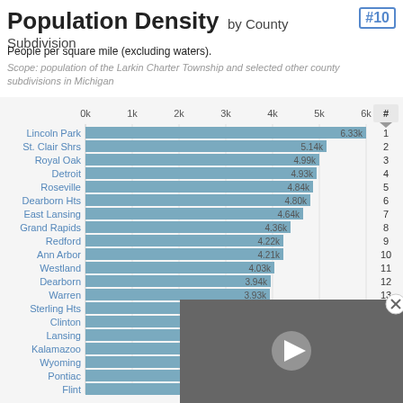Population Density by County Subdivision #10
People per square mile (excluding waters).
Scope: population of the Larkin Charter Township and selected other county subdivisions in Michigan
[Figure (bar-chart): Population Density by County Subdivision]